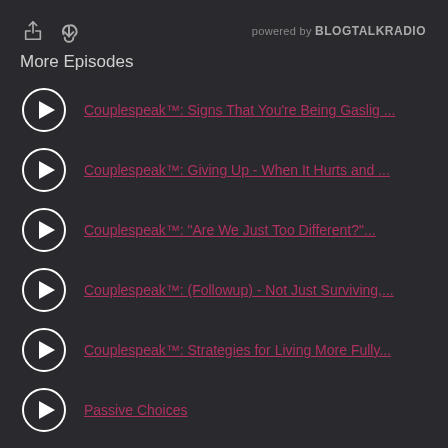powered by BLOGTALKRADIO
More Episodes
Couplespeak™: Signs That You're Being Gaslig...
Couplespeak™: Giving Up - When It Hurts and ...
Couplespeak™: "Are We Just Too Different?"...
Couplespeak™: (Followup) - Not Just Surviving,...
Couplespeak™: Strategies for Living More Fully...
Passive Choices